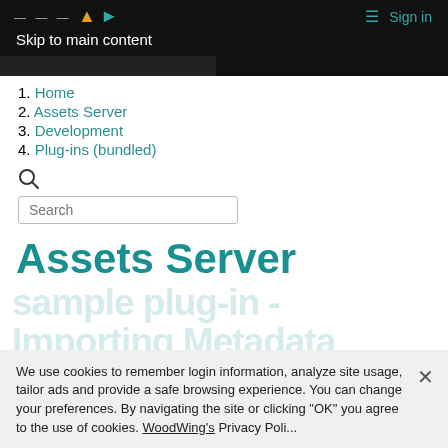Skip to main content | Sign in
1. Home
2. Assets Server
3. Development
4. Plug-ins (bundled)
Assets Server
We use cookies to remember login information, analyze site usage, tailor ads and provide a safe browsing experience. You can change your preferences. By navigating the site or clicking "OK" you agree to the use of cookies. WoodWing's Privacy Policy...